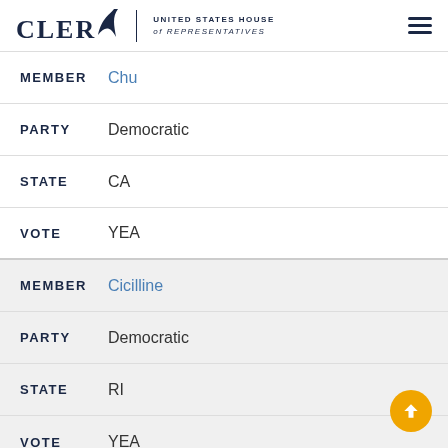CLERK | UNITED STATES HOUSE of REPRESENTATIVES
MEMBER Chu
PARTY Democratic
STATE CA
VOTE YEA
MEMBER Cicilline
PARTY Democratic
STATE RI
VOTE YEA